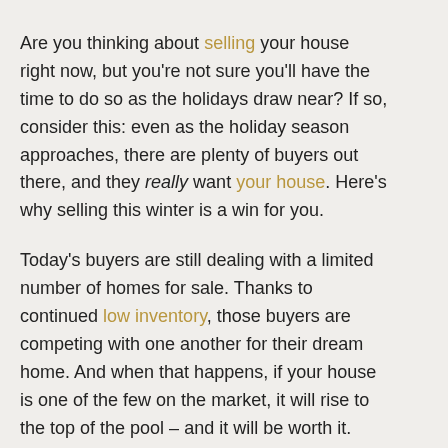Are you thinking about selling your house right now, but you're not sure you'll have the time to do so as the holidays draw near? If so, consider this: even as the holiday season approaches, there are plenty of buyers out there, and they really want your house. Here's why selling this winter is a win for you.
Today's buyers are still dealing with a limited number of homes for sale. Thanks to continued low inventory, those buyers are competing with one another for their dream home. And when that happens, if your house is one of the few on the market, it will rise to the top of the pool – and it will be worth it.
According to the latest data from the National Association of Realtors (NAR), the average seller received 3.7 offers on their house in September. For a view into what's happening at the state level, take a look at the map below: